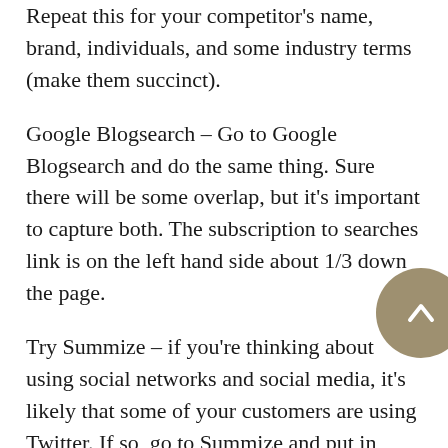Repeat this for your competitor's name, brand, individuals, and some industry terms (make them succinct).
Google Blogsearch – Go to Google Blogsearch and do the same thing. Sure there will be some overlap, but it's important to capture both. The subscription to searches link is on the left hand side about 1/3 down the page.
Try Summize – if you're thinking about using social networks and social media, it's likely that some of your customers are using Twitter. If so, go to Summize and put in your search terms there, too. Input as many searches as you need, copying the RSS feeds and putting them into Google Reader as above. Build a strong catalog of searches initially, you can